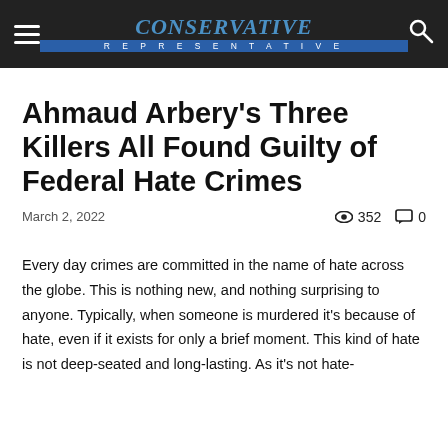CONSERVATIVE REPRESENTATIVE
Ahmaud Arbery's Three Killers All Found Guilty of Federal Hate Crimes
March 2, 2022   352   0
Every day crimes are committed in the name of hate across the globe. This is nothing new, and nothing surprising to anyone. Typically, when someone is murdered it's because of hate, even if it exists for only a brief moment. This kind of hate is not deep-seated and long-lasting. As it's not hate-